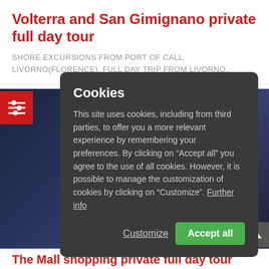Volterra and San Gimignano private full day tour
SHORE EXCURSIONS FROM PORT OF CALL LIVORNO(FLORENCE). FULL DAY TRIP FROM LIVORNO.
[Figure (photo): Background photo of a dark shopping area/store exterior at night with blue-toned lighting]
Cookies

This site uses cookies, including from third parties, to offer you a more relevant experience by remembering your preferences. By clicking on “Accept all” you agree to the use of all cookies. However, it is possible to manage the customization of cookies by clicking on “Customize”. Further info

Customize   Accept all
The Mall shopping private full day tour